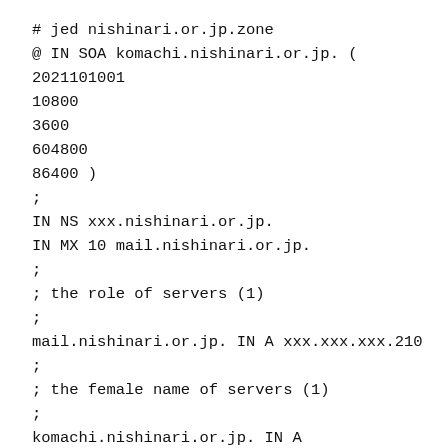# jed nishinari.or.jp.zone
@ IN SOA komachi.nishinari.or.jp. (
2021101001
10800
3600
604800
86400 )
;
IN NS xxx.nishinari.or.jp.
IN MX 10 mail.nishinari.or.jp.
;
; the role of servers (1)
;
mail.nishinari.or.jp. IN A xxx.xxx.xxx.210
;
; the female name of servers (1)
;
komachi.nishinari.or.jp. IN A